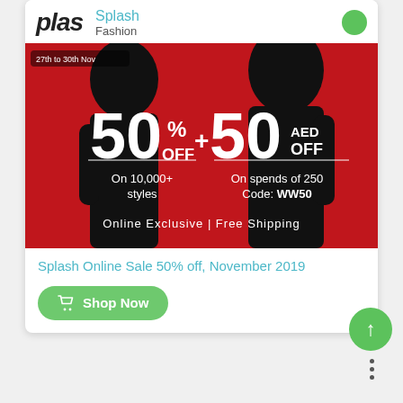plas  Splash  Fashion
[Figure (photo): Promotional banner for Splash fashion sale showing two silhouettes against a red background with text: 27th to 30th Nov, 50% OFF + 50 AED OFF, On 10,000+ styles, On spends of 250, Code: WW50, Online Exclusive | Free Shipping]
Splash Online Sale 50% off, November 2019
Shop Now